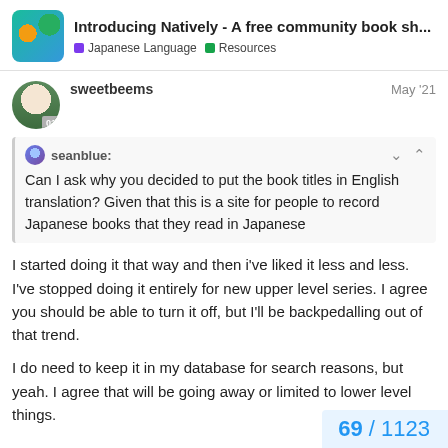Introducing Natively - A free community book sh... | Japanese Language | Resources
sweetbeems
May '21
seanblue:
Can I ask why you decided to put the book titles in English translation? Given that this is a site for people to record Japanese books that they read in Japanese
I started doing it that way and then i've liked it less and less. I've stopped doing it entirely for new upper level series. I agree you should be able to turn it off, but I'll be backpedalling out of that trend.
I do need to keep it in my database for search reasons, but yeah. I agree that will be going away or limited to lower level things.
69 / 1123